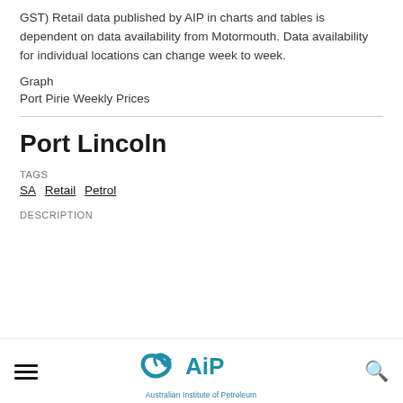GST) Retail data published by AIP in charts and tables is dependent on data availability from Motormouth. Data availability for individual locations can change week to week.
Graph
Port Pirie Weekly Prices
Port Lincoln
TAGS
SA Retail Petrol
DESCRIPTION
[Figure (logo): Australian Institute of Petroleum (AIP) logo with stylized fish/arrow icon and text 'Australian Institute of Petroleum']